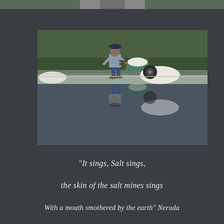[Figure (photo): Partial view of a photo at the very top of the page, showing a small sliver of an image.]
[Figure (photo): A worker at salt flats pushing a wheelbarrow loaded with white salt. The worker is reflected in the still, dark water of the salt flat. Green vegetation is visible in the background.]
“It sings, Salt sings,
the skin of the salt mines sings
With a mouth smothered by the earth” Neruda